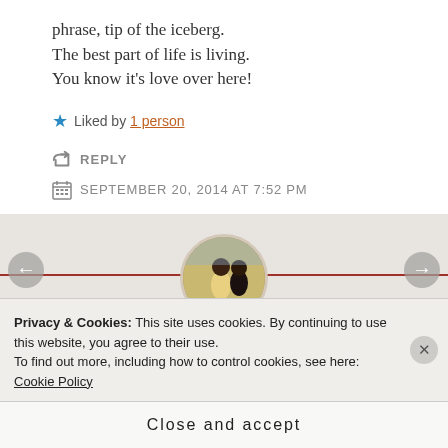phrase, tip of the iceberg.
The best part of life is living.
You know it's love over here!
★ Liked by 1 person
↪ REPLY
SEPTEMBER 20, 2014 AT 7:52 PM
[Figure (photo): Circular avatar photo of two people outdoors, above a white content box in a gray section with a red horizontal line]
Privacy & Cookies: This site uses cookies. By continuing to use this website, you agree to their use.
To find out more, including how to control cookies, see here: Cookie Policy
Close and accept